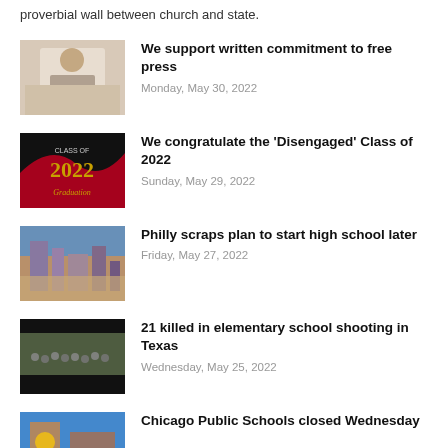proverbial wall between church and state.
[Figure (photo): Person sitting at a desk with a computer]
We support written commitment to free press
Monday, May 30, 2022
[Figure (photo): Class of 2022 graduation banner with red ribbon]
We congratulate the 'Disengaged' Class of 2022
Sunday, May 29, 2022
[Figure (photo): Aerial city skyline photo of Philadelphia]
Philly scraps plan to start high school later
Friday, May 27, 2022
[Figure (photo): Group photo with dark overlay bars]
21 killed in elementary school shooting in Texas
Wednesday, May 25, 2022
[Figure (photo): Colorful school mural]
Chicago Public Schools closed Wednesday